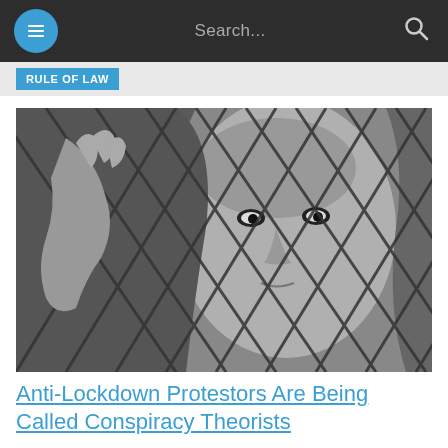Search...
RULE OF LAW
[Figure (photo): Black and white photo of a young woman pressing her face against a chain-link fence, gripping the fence with her hands, looking through it intensely.]
Anti-Lockdown Protestors Are Being Called Conspiracy Theorists